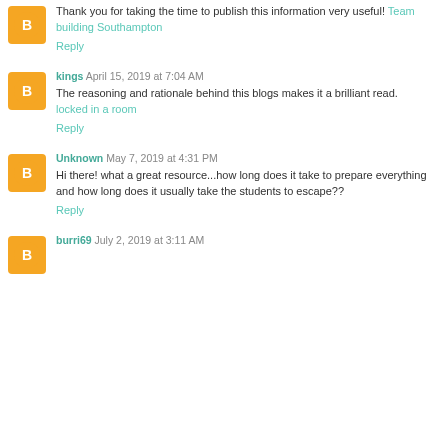Thank you for taking the time to publish this information very useful! Team building Southampton
Reply
kings April 15, 2019 at 7:04 AM
The reasoning and rationale behind this blogs makes it a brilliant read.
locked in a room
Reply
Unknown May 7, 2019 at 4:31 PM
Hi there! what a great resource...how long does it take to prepare everything and how long does it usually take the students to escape??
Reply
burri69 July 2, 2019 at 3:11 AM